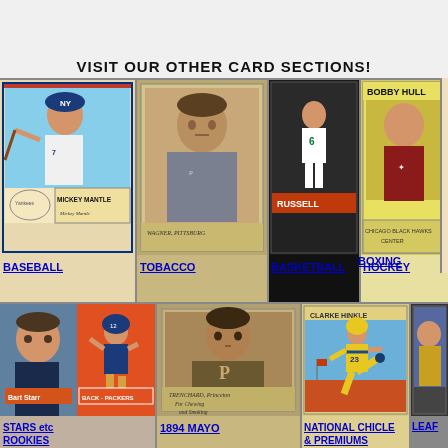VISIT OUR OTHER CARD SECTIONS!
[Figure (photo): Mickey Mantle baseball card (1952 Topps style), with NY Yankees cap, bat on shoulder. Label reads 'Mickey Mantle' and signature below.]
BASEBALL
[Figure (photo): Wagner Pittsburgh tobacco card - old sepia portrait of baseball player in uniform]
TOBACCO
[Figure (photo): Bill Russell basketball card - player in Celtics #6 jersey dribbling, card reads 'RUSSELL']
BASKETBALL
[Figure (photo): Bobby Hull hockey card - player in Chicago Blackhawks uniform, card reads 'BOBBY HULL' and 'CHICAGO BLACK HAWKS CENTER']
HOCKEY
[Figure (photo): Boxing card - old illustration of shirtless boxer, Allen & Co card, partial view]
BOXING
[Figure (photo): Bart Starr football card - Green Bay Packers, shows two images side-by-side: portrait and action pose, reads 'Bart Starr' 'BACK-PACKERS']
STARS etc ROOKIES
[Figure (photo): 1894 Mayo card - Trenchard Princeton, for Chewing and Smoking, sepia portrait of football player]
1894 MAYO
[Figure (photo): Clarke Hinkle National Chicle card - cartoon illustration of football player kicking in yellow suit]
NATIONAL CHICLE & PREMIUMS
[Figure (photo): Partial view of another card section - LEAF cards]
LEAF